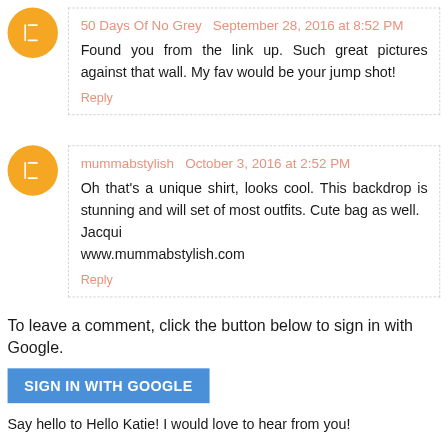50 Days Of No Grey  September 28, 2016 at 8:52 PM
Found you from the link up. Such great pictures against that wall. My fav would be your jump shot!
Reply
mummabstylish  October 3, 2016 at 2:52 PM
Oh that's a unique shirt, looks cool. This backdrop is stunning and will set of most outfits. Cute bag as well. Jacqui
www.mummabstylish.com
Reply
To leave a comment, click the button below to sign in with Google.
SIGN IN WITH GOOGLE
Say hello to Hello Katie! I would love to hear from you!